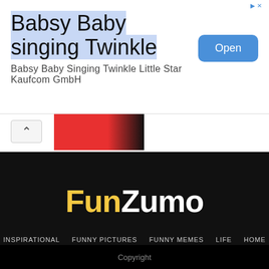[Figure (screenshot): Advertisement banner for Babsy Baby singing Twinkle app with blue Open button]
Babsy Baby singing Twinkle
Babsy Baby Singing Twinkle Little Star Kaufcom GmbH
[Figure (thumbnail): Red/black thumbnail showing motivational quotes book cover]
INSPIRATIONAL
377 Motivational & Inspirational Quotes
[Figure (logo): FunZumo logo — Fun in yellow, Zumo in white, on black background]
INSPIRATIONAL
FUNNY PICTURES
FUNNY MEMES
LIFE
HOME
Copyright